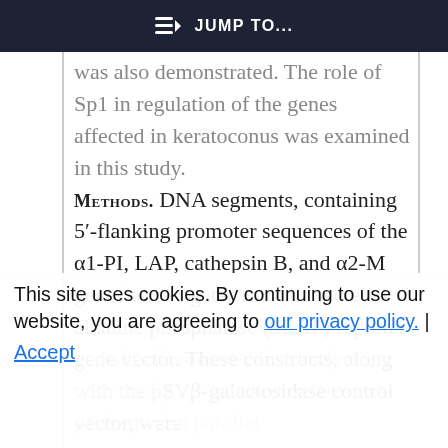≡) JUMP TO...
was also demonstrated. The role of Sp1 in regulation of the genes affected in keratoconus was examined in this study.
METHODS. DNA segments, containing 5′-flanking promoter sequences of the α1-PI, LAP, cathepsin B, and α2-M genes were ligated into the secreted alkaline phosphatase (SEAP) reporter gene vector. These constructs, along with the pSVβ-galactosidase control vector, were
transfected into cultured human corneal epithelial and stromal cells and skin fibroblasts. Cotransfection with the Sp1 expression vector was performed in parallel
This site uses cookies. By continuing to use our website, you are agreeing to our privacy policy. | Accept